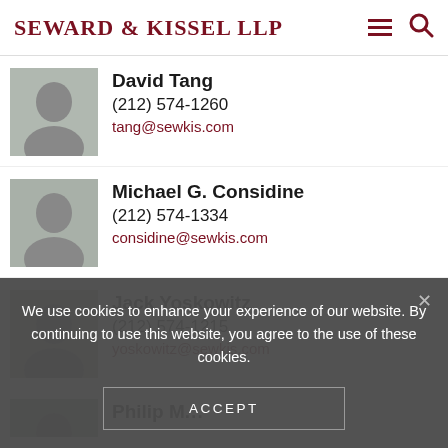Seward & Kissel LLP
David Tang
(212) 574-1260
tang@sewkis.com
Michael G. Considine
(212) 574-1334
considine@sewkis.com
Jack Yoskowitz
(212) 574-1215
yoskowitz@sewkis.com
Philip M...
We use cookies to enhance your experience of our website. By continuing to use this website, you agree to the use of these cookies.
ACCEPT